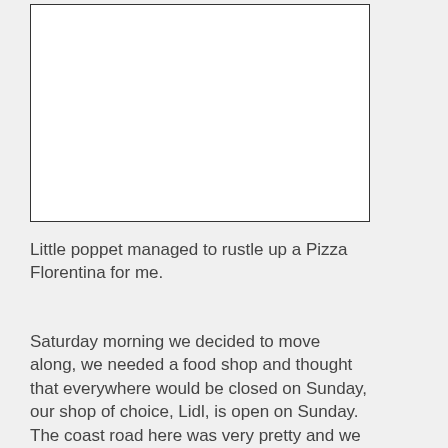[Figure (other): Empty white rectangle with black border, likely a photo placeholder]
Little poppet managed to rustle up a Pizza Florentina for me.
Saturday morning we decided to move along, we needed a food shop and thought that everywhere would be closed on Sunday, our shop of choice, Lidl, is open on Sunday. The coast road here was very pretty and we made good time to our intended stop for the night in Mondragon. I'm sorry to say that the town was a shit hole, the road leading to the lido was a dumping ground, the buildings near to the beach were run down and extremely shabby and the place we were aiming for was shut.